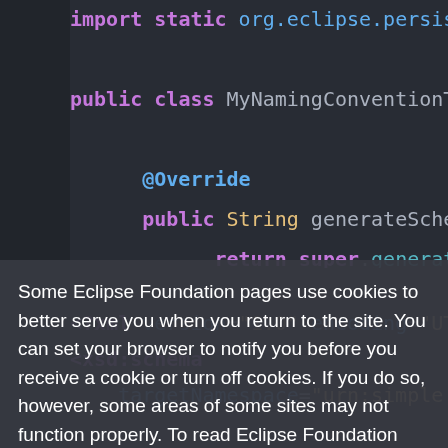[Figure (screenshot): Code editor screenshot showing Java class with @Override annotations and method stubs for generateSchemaAlias and generateElementAlias, followed by XML schema declaration at the bottom.]
Some Eclipse Foundation pages use cookies to better serve you when you return to the site. You can set your browser to notify you before you receive a cookie or turn off cookies. If you do so, however, some areas of some sites may not function properly. To read Eclipse Foundation Privacy Policy click here.